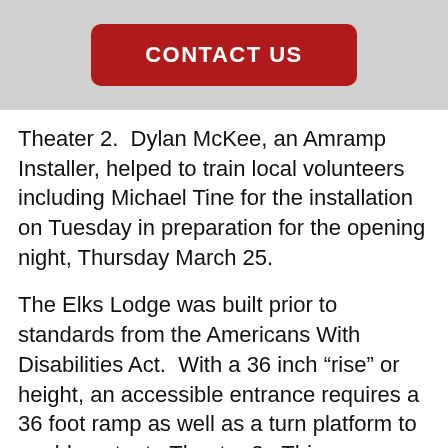[Figure (other): Red CONTACT US button on grey header background]
Theater 2.  Dylan McKee, an Amramp Installer, helped to train local volunteers including Michael Tine for the installation on Tuesday in preparation for the opening night, Thursday March 25.
The Elks Lodge was built prior to standards from the Americans With Disabilities Act.  With a 36 inch “rise” or height, an accessible entrance requires a 36 foot ramp as well as a turn platform to enable entry to Theater 2.  This was provided by AmRamp Los Angeles along with hand rails to insure the safety of the attendees at the Film Fest. The wheelchair ramp will be